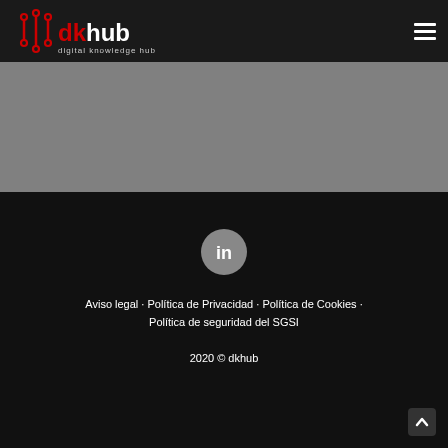dkhub digital knowledge hub
[Figure (logo): dkhub digital knowledge hub logo with circuit/signal icon in red and white on dark background]
[Figure (illustration): Gray banner/hero area below header]
[Figure (logo): LinkedIn icon - white 'in' on gray circle]
Aviso legal · Política de Privacidad · Política de Cookies · Política de seguridad del SGSI
2020 © dkhub